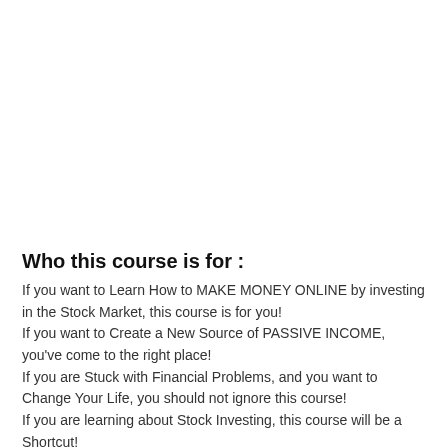Who this course is for :
If you want to Learn How to MAKE MONEY ONLINE by investing in the Stock Market, this course is for you! If you want to Create a New Source of PASSIVE INCOME, you've come to the right place! If you are Stuck with Financial Problems, and you want to Change Your Life, you should not ignore this course! If you are learning about Stock Investing, this course will be a Shortcut!